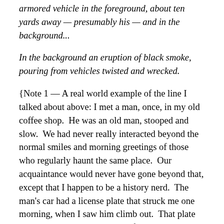armored vehicle in the foreground, about ten yards away — presumably his — and in the background...
In the background an eruption of black smoke, pouring from vehicles twisted and wrecked.
{Note 1 — A real world example of the line I talked about above: I met a man, once, in my old coffee shop.  He was an old man, stooped and slow.  We had never really interacted beyond the normal smiles and morning greetings of those who regularly haunt the same place.  Our acquaintance would never have gone beyond that, except that I happen to be a history nerd.  The man's car had a license plate that struck me one morning, when I saw him climb out.  That plate bore not a random collection of numbers and letters, but a US Navy hull